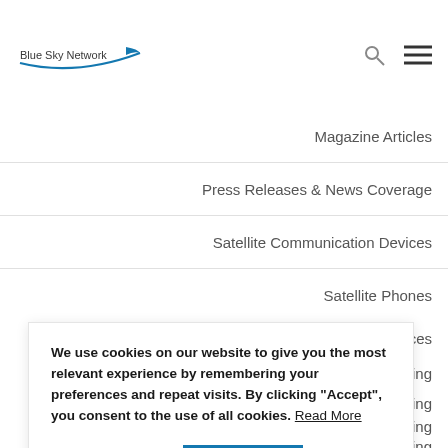[Figure (logo): Blue Sky Network logo with blue swoosh arc]
Magazine Articles
Press Releases & News Coverage
Satellite Communication Devices
Satellite Phones
We use cookies on our website to give you the most relevant experience by remembering your preferences and repeat visits. By clicking “Accept”, you consent to the use of all cookies. Read More
Cookie Settings  ACCEPT
Tracking Devices
Aircraft Tracking
Personal Tracking
Vehicle Tracking
Vessel Tracking